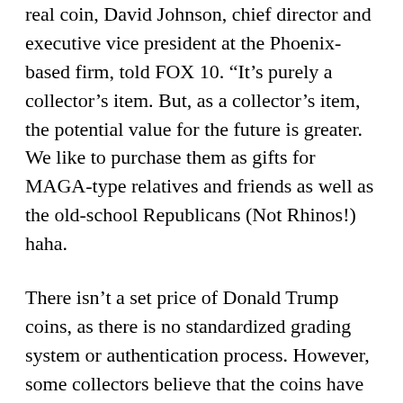real coin, David Johnson, chief director and executive vice president at the Phoenix-based firm, told FOX 10. “It’s purely a collector’s item. But, as a collector’s item, the potential value for the future is greater. We like to purchase them as gifts for MAGA-type relatives and friends as well as the old-school Republicans (Not Rhinos!) haha.
There isn’t a set price of Donald Trump coins, as there is no standardized grading system or authentication process. However, some collectors believe that the coins have value of little due to their novelty and collectability. There’s no official endorsement by Trump or